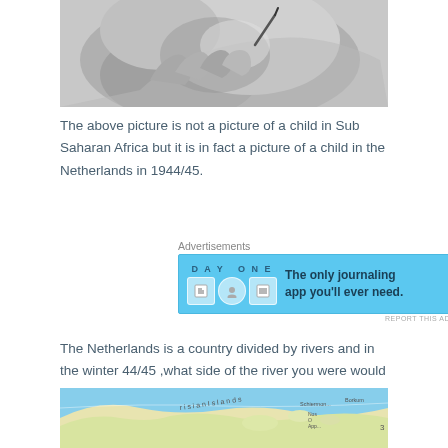[Figure (photo): Black and white close-up photograph of a child's hand holding a pen or pencil, partial view of face/head in background]
The above picture is not a picture of a child in  Sub Saharan Africa but it is in fact a picture of a child in the Netherlands in 1944/45.
Advertisements
[Figure (screenshot): Advertisement for Day One journaling app with blue background, showing app icons and text: 'The only journaling app you'll ever need.']
The Netherlands is a country divided by rivers and in the winter 44/45 ,what side of the river you were would determine whether you would have food or not.
[Figure (map): Partial map showing Frisian Islands region, with blue water background and light-colored land masses, labels include 'Frisian Islands', 'Schiermonnikoog', 'Borkum']